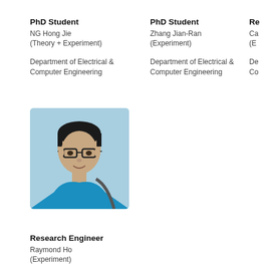PhD Student
NG Hong Jie
(Theory + Experiment)

Department of Electrical &
Computer Engineering
PhD Student
Zhang Jian-Ran
(Experiment)

Department of Electrical &
Computer Engineering
Re...
Ca...
(E...)

De...
Co...
[Figure (photo): Portrait photo of a young man wearing glasses and a blue shirt, outdoors]
Research Engineer
Raymond Ho
(Experiment)

Department of Electrical &
Computer Engineering